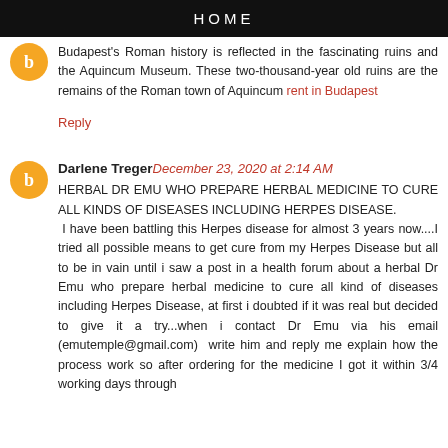HOME
Budapest's Roman history is reflected in the fascinating ruins and the Aquincum Museum. These two-thousand-year old ruins are the remains of the Roman town of Aquincum rent in Budapest
Reply
Darlene Treger December 23, 2020 at 2:14 AM
HERBAL DR EMU WHO PREPARE HERBAL MEDICINE TO CURE ALL KINDS OF DISEASES INCLUDING HERPES DISEASE. I have been battling this Herpes disease for almost 3 years now....I tried all possible means to get cure from my Herpes Disease but all to be in vain until i saw a post in a health forum about a herbal Dr Emu who prepare herbal medicine to cure all kind of diseases including Herpes Disease, at first i doubted if it was real but decided to give it a try...when i contact Dr Emu via his email (emutemple@gmail.com) write him and reply me explain how the process work so after ordering for the medicine I got it within 3/4 working days through